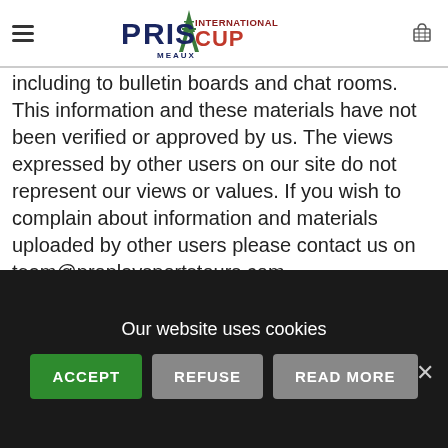Paris International Cup Meaux — navigation header with logo and cart
including to bulletin boards and chat rooms. This information and these materials have not been verified or approved by us. The views expressed by other users on our site do not represent our views or values. If you wish to complain about information and materials uploaded by other users please contact us on team@proplaysportstours.com.
13. OUR RESPONSIBILITY FOR LOSS OR DAMAGE SUFFERED BY YOU
Our website uses cookies
ACCEPT   REFUSE   READ MORE